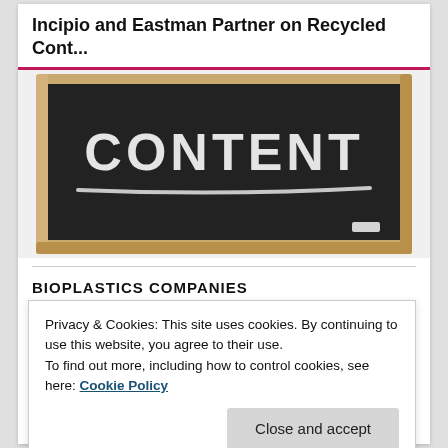Incipio and Eastman Partner on Recycled Cont...
[Figure (photo): Chalkboard with the word CONTENT written in chalk with a chalk underline beneath it, framed in a wooden frame, on a light background.]
BIOPLASTICS COMPANIES
Privacy & Cookies: This site uses cookies. By continuing to use this website, you agree to their use.
To find out more, including how to control cookies, see here: Cookie Policy
Close and accept